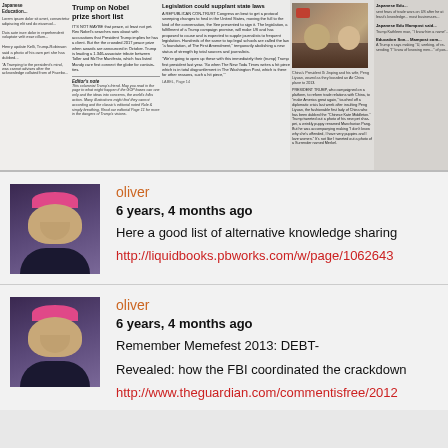[Figure (screenshot): Newspaper front page clipping showing multiple columns with articles including 'Trump on Nobel prize short list', 'Legislation could supplant state laws', and photos including China President Xi Jinping]
oliver
6 years, 4 months ago
Here a good list of alternative knowledge sharing
http://liquidbooks.pbworks.com/w/page/1062643
oliver
6 years, 4 months ago
Remember Memefest 2013: DEBT-
Revealed: how the FBI coordinated the crackdown
http://www.theguardian.com/commentisfree/2012